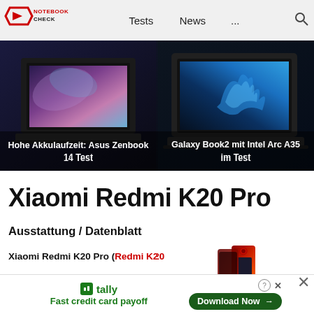NOTEBOOKCHECK — Tests  News  ...
[Figure (photo): Left laptop banner: Asus Zenbook 14 with purple/blue abstract wallpaper on dark background. Caption: Hohe Akkulaufzeit: Asus Zenbook 14 Test]
[Figure (photo): Right laptop banner: Samsung Galaxy Book2 with blue flame/bird wallpaper on dark background. Caption: Galaxy Book2 mit Intel Arc A35 im Test]
Xiaomi Redmi K20 Pro
Ausstattung / Datenblatt
Xiaomi Redmi K20 Pro (Redmi K20
[Figure (photo): Product thumbnail: Xiaomi Redmi K20 Pro in red/flame gradient color]
tally — Fast credit card payoff — Download Now →